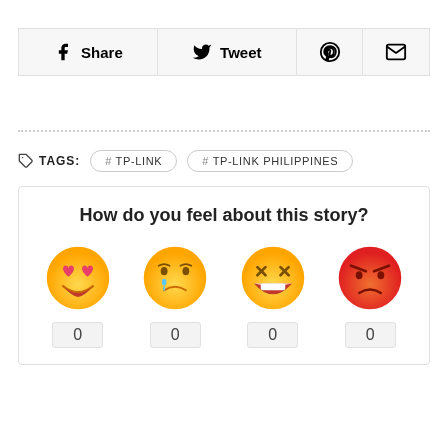[Figure (infographic): Social share buttons: Facebook Share, Twitter Tweet, Pinterest icon, Email icon]
TAGS: # TP-LINK  # TP-LINK PHILIPPINES
[Figure (infographic): Reaction widget: How do you feel about this story? Four emoji reactions (love, sad, laughing, angry), each with count 0]